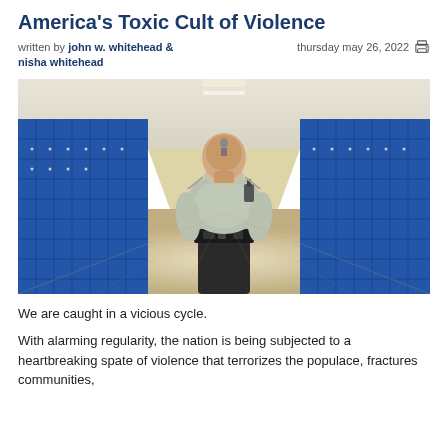America's Toxic Cult of Violence
written by john w. whitehead & nisha whitehead thursday may 26, 2022
[Figure (photo): Security officer walking away from camera down a school hallway lined with blue lockers on both sides]
We are caught in a vicious cycle.
With alarming regularity, the nation is being subjected to a heartbreaking spate of violence that terrorizes the populace, fractures communities,